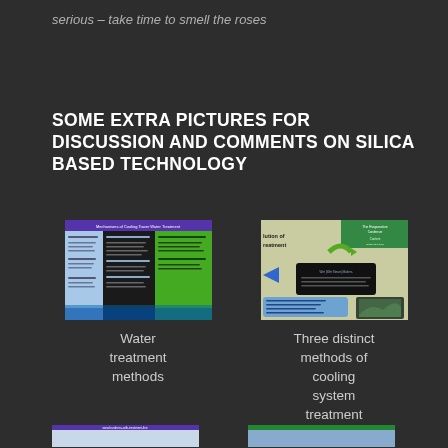serious – take time to smell the roses
SOME EXTRA PICTURES FOR DISCUSSION AND COMMENTS ON SILICA BASED TECHNOLOGY
[Figure (screenshot): Screenshot of a water treatment methods information poster with blue, black and green columns containing text about water treatment.]
Water treatment methods
[Figure (screenshot): Screenshot of a slide showing three distinct methods of cooling system treatment, with a green arrow flowchart and blue/beige info boxes.]
Three distinct methods of cooling system treatment
[Figure (screenshot): Partially visible screenshot at the bottom left of the page.]
[Figure (screenshot): Partially visible screenshot at the bottom right of the page.]